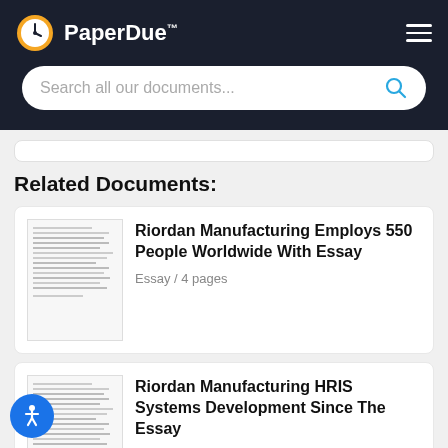PaperDue™ — Search all our documents...
Related Documents:
Riordan Manufacturing Employs 550 People Worldwide With Essay — Essay / 4 pages
Riordan Manufacturing HRIS Systems Development Since The Essay — Essay / 4 pages
Riordan Compliance Riordan